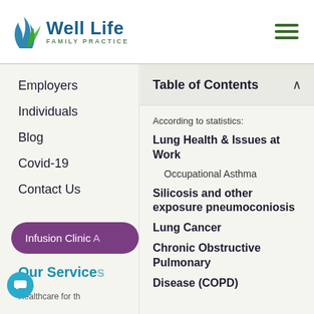[Figure (logo): Well Life Family Practice logo with blue and green flame/leaf icon]
Employers
Individuals
Blog
Covid-19
Contact Us
Table of Contents
According to statistics:
Lung Health & Issues at Work
Occupational Asthma
Silicosis and other exposure pneumoconiosis
Lung Cancer
Chronic Obstructive Pulmonary Disease (COPD)
Our Service
Healthcare for th